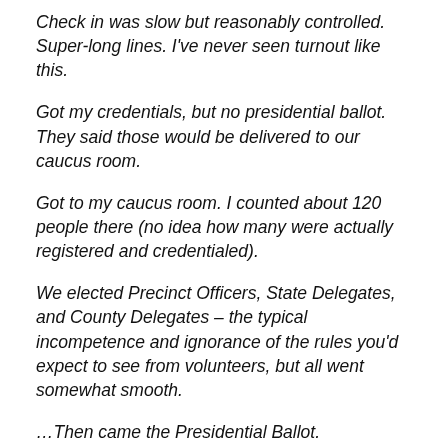Check in was slow but reasonably controlled. Super-long lines. I've never seen turnout like this.
Got my credentials, but no presidential ballot. They said those would be delivered to our caucus room.
Got to my caucus room. I counted about 120 people there (no idea how many were actually registered and credentialed).
We elected Precinct Officers, State Delegates, and County Delegates – the typical incompetence and ignorance of the rules you'd expect to see from volunteers, but all went somewhat smooth.
…Then came the Presidential Ballot.
Someone shows up with a stack of probably 250 ballots. The precinct chair splits them up, and starts handing